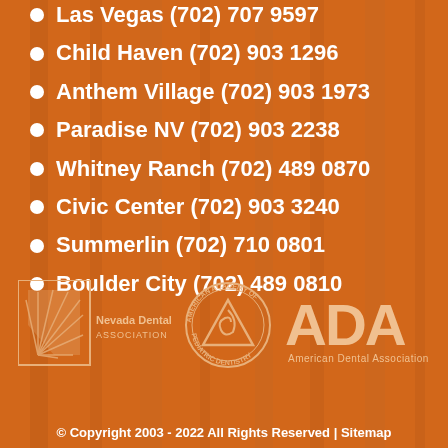Las Vegas (702) 707 9597
Child Haven (702) 903 1296
Anthem Village (702) 903 1973
Paradise NV (702) 903 2238
Whitney Ranch (702) 489 0870
Civic Center (702) 903 3240
Summerlin (702) 710 0801
Boulder City (702) 489 0810
[Figure (logo): Nevada Dental Association logo, American Academy of Pediatric Dentistry logo, and American Dental Association logo]
© Copyright 2003 - 2022 All Rights Reserved | Sitemap